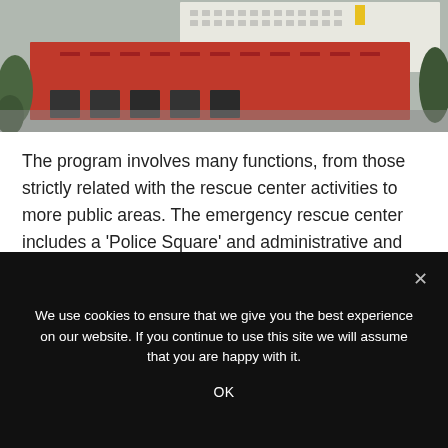[Figure (photo): Aerial photo of a fire/rescue center building with a large red roof and white multi-story building in the background, surrounded by trees.]
The program involves many functions, from those strictly related with the rescue center activities to more public areas. The emergency rescue center includes a 'Police Square' and administrative and technical offices of fire fighting units. A big physical training and sport area has been designed for the firemen, with both outdoor and indoor activities,
We use cookies to ensure that we give you the best experience on our website. If you continue to use this site we will assume that you are happy with it.

OK